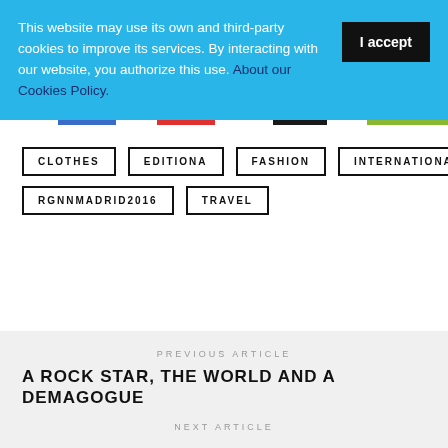This website may use its own and third-party cookies to improve its services. By interacting with our website, you authorize this use. About our Cookies Policy.
I accept
CLOTHES
EDITIONA
FASHION
INTERNATIONAL
RGNNMADRID2016
TRAVEL
PREVIOUS ARTICLE
A ROCK STAR, THE WORLD AND A DEMAGOGUE
NEXT ARTICLE